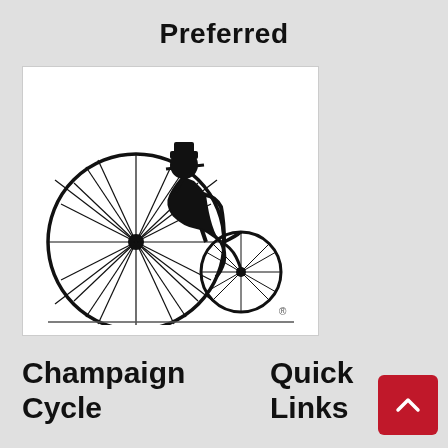Preferred
[Figure (illustration): Black and white illustration of a person in Victorian-era clothing pushing/riding a penny-farthing bicycle (large front wheel, small rear wheel). A registered trademark symbol appears at the bottom right of the image.]
Champaign Cycle
Quick Links